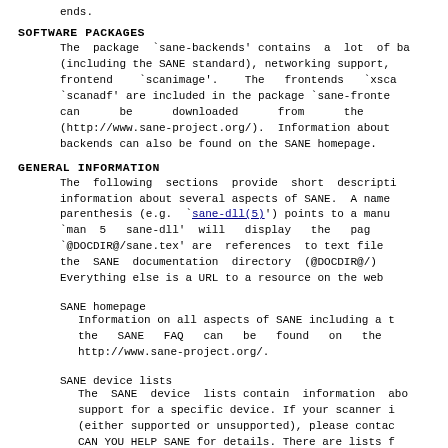ends.
SOFTWARE PACKAGES
The package `sane-backends' contains a lot of ba
(including the SANE standard), networking support,
frontend `scanimage'.  The frontends `xsca
`scanadf' are included in the package `sane-fronte
can      be      downloaded      from      the
(http://www.sane-project.org/). Information about
backends can also be found on the SANE homepage.
GENERAL INFORMATION
The following sections provide short descripti
information about several aspects of SANE. A name
parenthesis (e.g.  `sane-dll(5)') points to a manu
`man 5  sane-dll' will  display  the  pag
`@DOCDIR@/sane.tex' are references to text file
the SANE documentation directory (@DOCDIR@/)
Everything else is a URL to a resource on the web
SANE homepage
Information on all aspects of SANE including a t
the  SANE  FAQ  can  be  found  on  the
http://www.sane-project.org/.
SANE device lists
The SANE device lists contain information abo
support for a specific device. If your scanner i
(either supported or unsupported), please contac
CAN YOU HELP SANE for details. There are lists f
of SANE  for  the  support  develorment  varirt